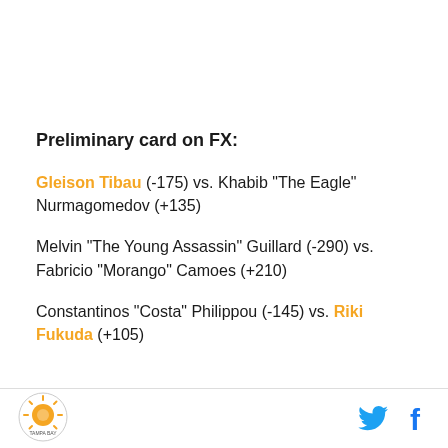Preliminary card on FX:
Gleison Tibau (-175) vs. Khabib "The Eagle" Nurmagomedov (+135)
Melvin "The Young Assassin" Guillard (-290) vs. Fabricio "Morango" Camoes (+210)
Constantinos "Costa" Philippou (-145) vs. Riki Fukuda (+105)
[Figure (logo): Tampa Bay circular logo with orange sun/citrus graphic]
[Figure (other): Twitter bird icon (blue) and Facebook 'f' icon (blue)]